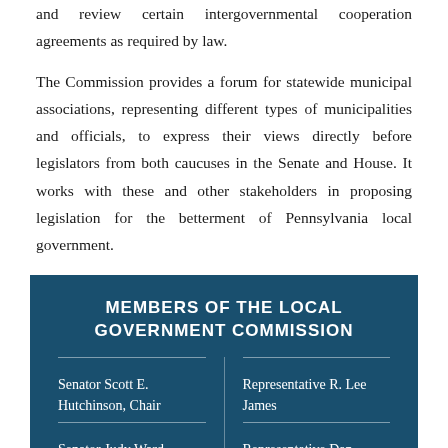and review certain intergovernmental cooperation agreements as required by law.
The Commission provides a forum for statewide municipal associations, representing different types of municipalities and officials, to express their views directly before legislators from both caucuses in the Senate and House. It works with these and other stakeholders in proposing legislation for the betterment of Pennsylvania local government.
MEMBERS OF THE LOCAL GOVERNMENT COMMISSION
Senator Scott E. Hutchinson, Chair
Representative R. Lee James
Senator Judy Ward
Representative Dan